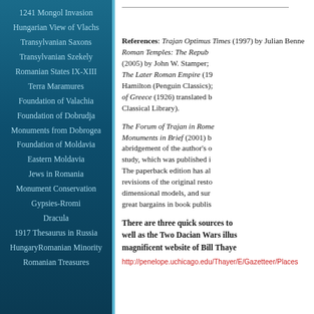1241 Mongol Invasion
Hungarian View of Vlachs
Transylvanian Saxons
Transylvanian Szekely
Romanian States IX-XIII
Terra Maramures
Foundation of Valachia
Foundation of Dobrudja
Monuments from Dobrogea
Foundation of Moldavia
Eastern Moldavia
Jews in Romania
Monument Conservation
Gypsies-Rromi
Dracula
1917 Thesaurus in Russia
HungaryRomanian Minority
Romanian Treasures
References: Trajan Optimus Times (1997) by Julian Benne Roman Temples: The Repub (2005) by John W. Stamper; The Later Roman Empire (19 Hamilton (Penguin Classics); of Greece (1926) translated b Classical Library).
The Forum of Trajan in Rome Monuments in Brief (2001) b abridgement of the author's o study, which was published i The paperback edition has al revisions of the original resto dimensional models, and sur great bargains in book publis
There are three quick sources to well as the Two Dacian Wars illus magnificent website of Bill Thaye
http://penelope.uchicago.edu/Thayer/E/Gazetteer/Places